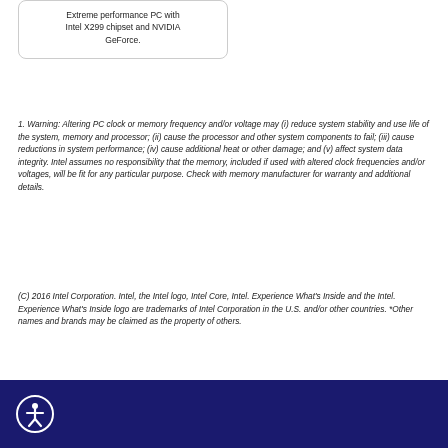Extreme performance PC with Intel X299 chipset and NVIDIA GeForce.
1. Warning: Altering PC clock or memory frequency and/or voltage may (i) reduce system stability and use life of the system, memory and processor; (ii) cause the processor and other system components to fail; (iii) cause reductions in system performance; (iv) cause additional heat or other damage; and (v) affect system data integrity. Intel assumes no responsibility that the memory, included if used with altered clock frequencies and/or voltages, will be fit for any particular purpose. Check with memory manufacturer for warranty and additional details.
(C) 2016 Intel Corporation. Intel, the Intel logo, Intel Core, Intel. Experience What's Inside and the Intel. Experience What's Inside logo are trademarks of Intel Corporation in the U.S. and/or other countries. *Other names and brands may be claimed as the property of others.
[Figure (logo): Dark navy footer bar with white accessibility icon (person in circle)]